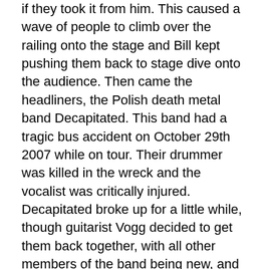if they took it from him. This caused a wave of people to climb over the railing onto the stage and Bill kept pushing them back to stage dive onto the audience. Then came the headliners, the Polish death metal band Decapitated. This band had a tragic bus accident on October 29th 2007 while on tour. Their drummer was killed in the wreck and the vocalist was critically injured. Decapitated broke up for a little while, though guitarist Vogg decided to get them back together, with all other members of the band being new, and put out a new album back in July titled Carnival Is Forever. However, this band just isn't the same, it was almost sad seeing them play. Spheres Of Madness, their closing song and most famous, just wasn't the same, it was almost like seeing a cover band play it. Combined with their short set, they only played for about 45-50 minutes, they were a let down. I'm glad I got to see them a few times before their accident. Also of note, this was their